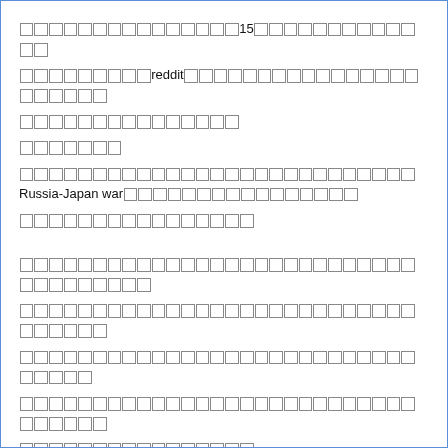[CJK text block 1 — contains Japanese/Chinese characters with '15' and 'reddit' embedded, followed by 'Russia-Japan war' embedded in subsequent paragraph]